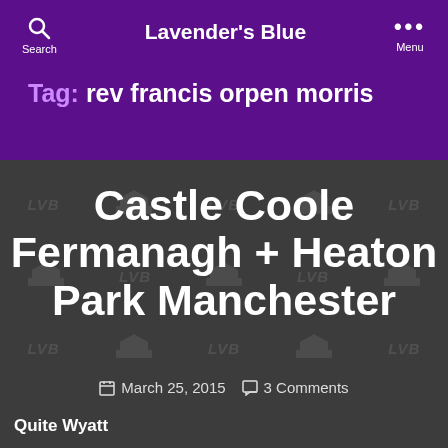Lavender's Blue
Tag: rev francis orpen morris
Castle Coole Fermanagh + Heaton Park Manchester
March 25, 2015   3 Comments
Quite Wyatt